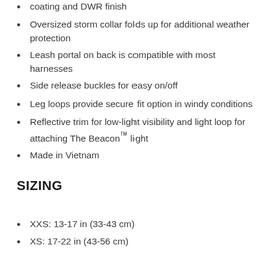coating and DWR finish
Oversized storm collar folds up for additional weather protection
Leash portal on back is compatible with most harnesses
Side release buckles for easy on/off
Leg loops provide secure fit option in windy conditions
Reflective trim for low-light visibility and light loop for attaching The Beacon™ light
Made in Vietnam
SIZING
XXS:  13-17 in (33-43 cm)
XS:  17-22 in (43-56 cm)